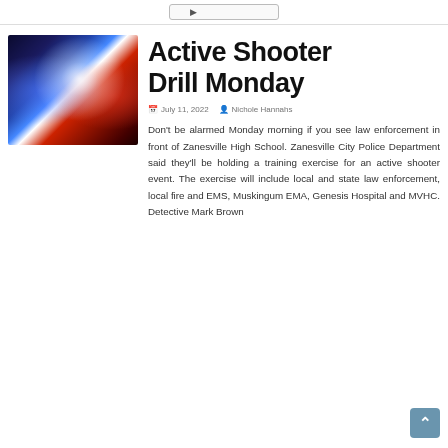[Figure (photo): Police car with blue and red flashing lights at night]
Active Shooter Drill Monday
July 11, 2022   Nichole Hannahs
Don't be alarmed Monday morning if you see law enforcement in front of Zanesville High School. Zanesville City Police Department said they'll be holding a training exercise for an active shooter event. The exercise will include local and state law enforcement, local fire and EMS, Muskingum EMA, Genesis Hospital and MVHC. Detective Mark Brown